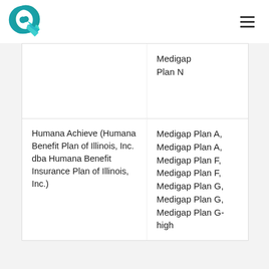Logo and navigation header
|  | Medigap Plan N |
| Humana Achieve (Humana Benefit Plan of Illinois, Inc. dba Humana Benefit Insurance Plan of Illinois, Inc.) | Medigap Plan A, Medigap Plan A, Medigap Plan F, Medigap Plan F, Medigap Plan G, Medigap Plan G, Medigap Plan G-high |